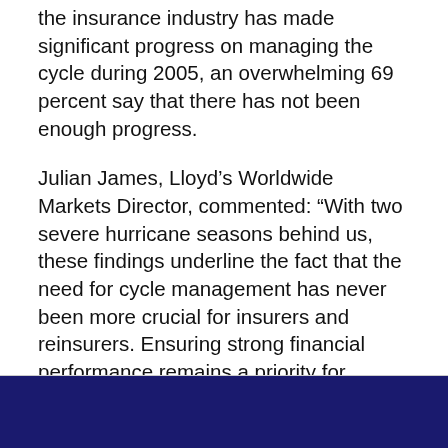the insurance industry has made significant progress on managing the cycle during 2005, an overwhelming 69 percent say that there has not been enough progress.
Julian James, Lloyd’s Worldwide Markets Director, commented: “With two severe hurricane seasons behind us, these findings underline the fact that the need for cycle management has never been more crucial for insurers and reinsurers. Ensuring strong financial performance remains a priority for Lloyd’s, and is a key part of our strategic plan.”
The complete report can be obtained on the Lloyd’s Website at: www.lloyds.com/research.